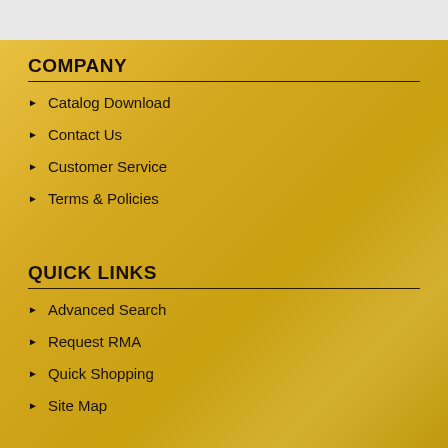COMPANY
Catalog Download
Contact Us
Customer Service
Terms & Policies
QUICK LINKS
Advanced Search
Request RMA
Quick Shopping
Site Map
ACCOUNT